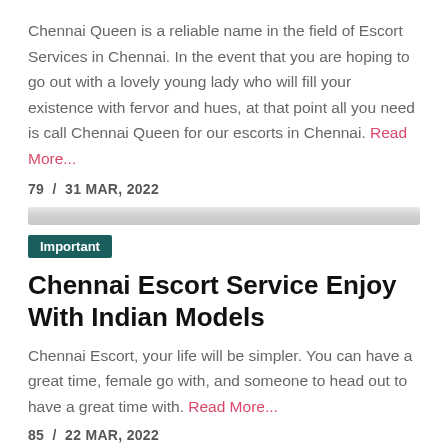Chennai Queen is a reliable name in the field of Escort Services in Chennai. In the event that you are hoping to go out with a lovely young lady who will fill your existence with fervor and hues, at that point all you need is call Chennai Queen for our escorts in Chennai. Read More...
79  /  31 MAR, 2022
[Figure (other): A horizontal gray gradient divider bar]
Important
Chennai Escort Service Enjoy With Indian Models
Chennai Escort, your life will be simpler. You can have a great time, female go with, and someone to head out to have a great time with. Read More...
85  /  22 MAR, 2022